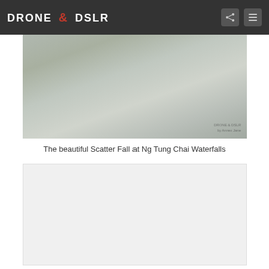DRONE & DSLR
[Figure (photo): Waterfall photo — Scatter Fall at Ng Tung Chai Waterfalls, rocky cliff with cascading white water]
The beautiful Scatter Fall at Ng Tung Chai Waterfalls
[Figure (photo): Second photo placeholder — light gray/white rectangle, appears to be loading or blank]